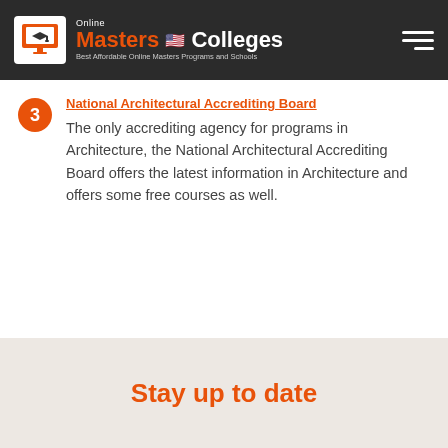Online Masters Colleges — Best Affordable Online Masters Programs and Schools
National Architectural Accrediting Board
The only accrediting agency for programs in Architecture, the National Architectural Accrediting Board offers the latest information in Architecture and offers some free courses as well.
Stay up to date